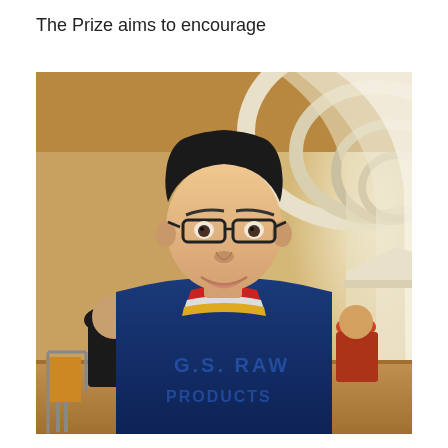The Prize aims to encourage
[Figure (photo): A young Asian man wearing glasses and a dark blue G.S. Raw Products sweatshirt stands smiling in a grand hall or corridor with arched ceilings, ornate white and cream architectural details, and other visitors visible in the background.]